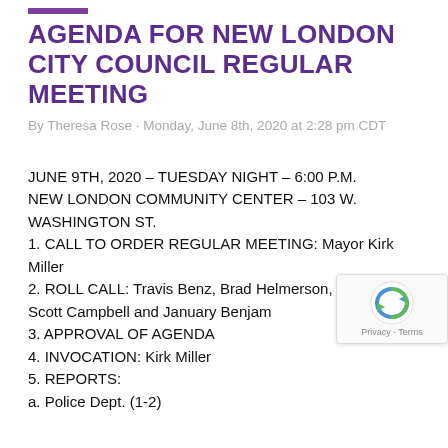AGENDA FOR NEW LONDON CITY COUNCIL REGULAR MEETING
By Theresa Rose · Monday, June 8th, 2020 at 2:28 pm CDT
JUNE 9TH, 2020 – TUESDAY NIGHT – 6:00 P.M. NEW LONDON COMMUNITY CENTER – 103 W. WASHINGTON ST.
1. CALL TO ORDER REGULAR MEETING: Mayor Kirk Miller
2. ROLL CALL: Travis Benz, Brad Helmerson, Dan Berner, Scott Campbell and January Benjamin
3. APPROVAL OF AGENDA
4. INVOCATION: Kirk Miller
5. REPORTS:
a. Police Dept. (1-2)